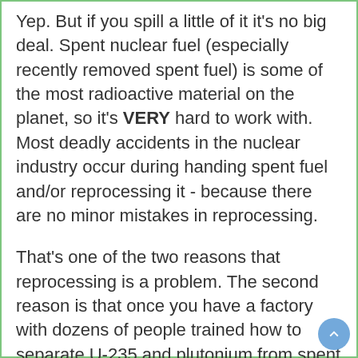Yep. But if you spill a little of it it's no big deal. Spent nuclear fuel (especially recently removed spent fuel) is some of the most radioactive material on the planet, so it's VERY hard to work with. Most deadly accidents in the nuclear industry occur during handing spent fuel and/or reprocessing it - because there are no minor mistakes in reprocessing.
That's one of the two reasons that reprocessing is a problem. The second reason is that once you have a factory with dozens of people trained how to separate U-235 and plutonium from spent fuel, that's a very big risk for nuclear proliferation. Imagine training 30 people a year on how to run the process, then (eventually) having to fire some. Now you have dozens of disgruntled people in the world who know how to take nuclear waste and extract weapons-